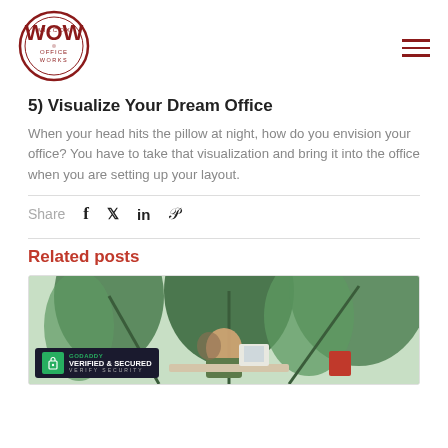Wilcox Office Works logo and navigation
5) Visualize Your Dream Office
When your head hits the pillow at night, how do you envision your office? You have to take that visualization and bring it into the office when you are setting up your layout.
Share
Related posts
[Figure (photo): Person sitting at desk surrounded by large green office plants]